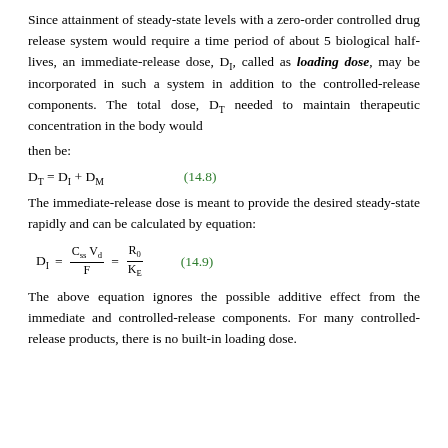Since attainment of steady-state levels with a zero-order controlled drug release system would require a time period of about 5 biological half-lives, an immediate-release dose, D_I, called as loading dose, may be incorporated in such a system in addition to the controlled-release components. The total dose, D_T needed to maintain therapeutic concentration in the body would
then be:
The immediate-release dose is meant to provide the desired steady-state rapidly and can be calculated by equation:
The above equation ignores the possible additive effect from the immediate and controlled-release components. For many controlled-release products, there is no built-in loading dose.